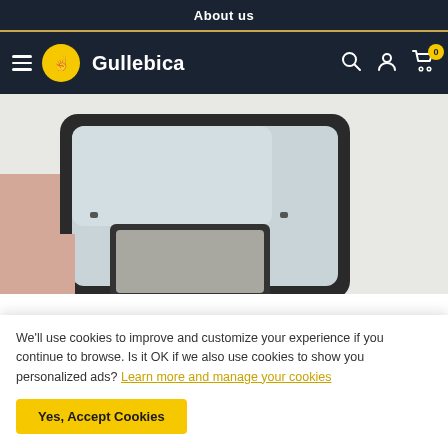About us
[Figure (logo): Gullebica website navigation bar with hamburger menu, yellow logo circle with hand icon, brand name Gullebica, search icon, account icon, and cart icon with badge 0]
[Figure (photo): Close-up product photo of a compact makeup mirror with black frame, showing reflective glass surface and folding design]
We'll use cookies to improve and customize your experience if you continue to browse. Is it OK if we also use cookies to show you personalized ads? Learn more and manage your cookies
Yes, Accept Cookies